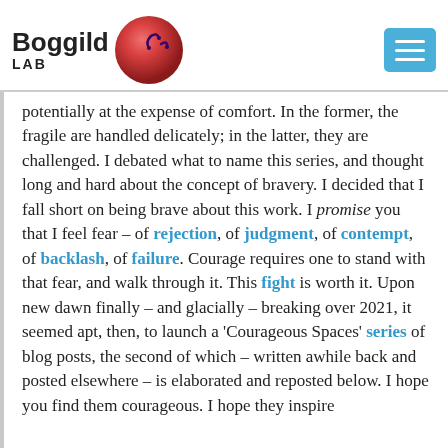Boggild LAB
potentially at the expense of comfort. In the former, the fragile are handled delicately; in the latter, they are challenged. I debated what to name this series, and thought long and hard about the concept of bravery. I decided that I fall short on being brave about this work. I promise you that I feel fear – of rejection, of judgment, of contempt, of backlash, of failure. Courage requires one to stand with that fear, and walk through it. This fight is worth it. Upon new dawn finally – and glacially – breaking over 2021, it seemed apt, then, to launch a 'Courageous Spaces' series of blog posts, the second of which – written awhile back and posted elsewhere – is elaborated and reposted below. I hope you find them courageous. I hope they inspire